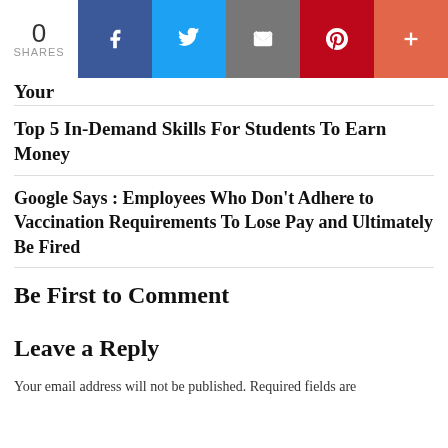[Figure (screenshot): Social share bar with 0 shares count, Facebook (blue), Twitter (light blue), Email (gray), Pinterest (red), and More (orange-red) buttons]
Your
Top 5 In-Demand Skills For Students To Earn Money
Google Says : Employees Who Don't Adhere to Vaccination Requirements To Lose Pay and Ultimately Be Fired
Be First to Comment
Leave a Reply
Your email address will not be published. Required fields are